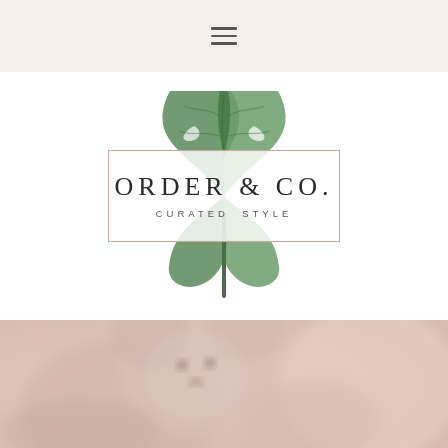≡ (hamburger menu icon)
[Figure (logo): Order & Co. Curated Style logo with monstera leaf and rectangular border]
[Figure (photo): Soft pink-toned blurred photo of a teddy bear / stuffed animal]